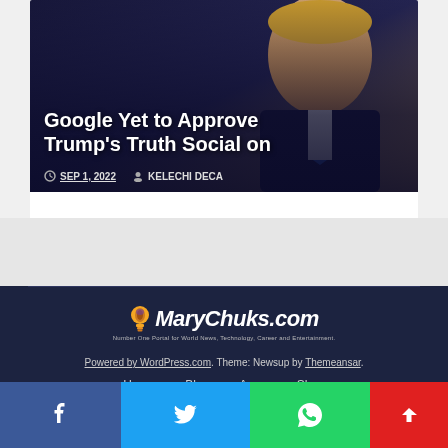[Figure (illustration): Article card with dark blue illustrated background showing a figure in a suit, overlaid with article title text and metadata]
Google Yet to Approve Trump's Truth Social on
SEP 1, 2022  KELECHI DECA
[Figure (logo): MaryChuks.com logo with lightbulb icon and tagline: Number One Portal for World News, Technology, Career and Entertainment]
Powered by WordPress.com. Theme: Newsup by Themeansar.
Home  Blog  Apps  Shop